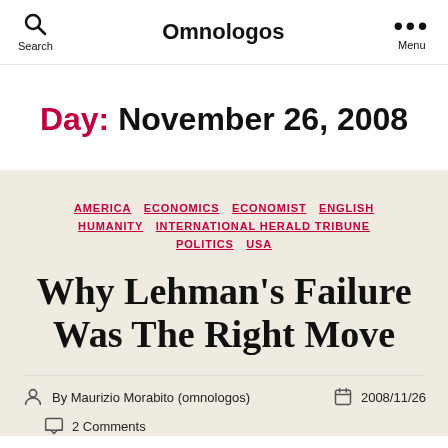Search   Omnologos   Menu
Day: November 26, 2008
AMERICA  ECONOMICS  ECONOMIST  ENGLISH  HUMANITY  INTERNATIONAL HERALD TRIBUNE  POLITICS  USA
Why Lehman's Failure Was The Right Move
By Maurizio Morabito (omnologos)   2008/11/26
2 Comments